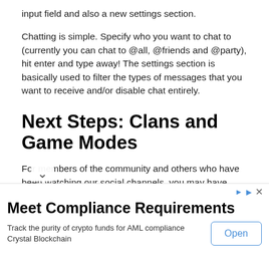input field and also a new settings section.
Chatting is simple. Specify who you want to chat to (currently you can chat to @all, @friends and @party), hit enter and type away! The settings section is basically used to filter the types of messages that you want to receive and/or disable chat entirely.
Next Steps: Clans and Game Modes
For members of the community and others who have been watching our social channels, you may have noticed our recent poll asking what our first community discussion should be about. The results were pretty clear, you guys want to talk about new game modes:
[Figure (other): Broken image placeholder in a bordered box]
We're pretty excited to get this discussion underway, but recent off- iscussions with the community have indicated that the type of odes that you guys are interested in are team based, which
Meet Compliance Requirements
Track the purity of crypto funds for AML compliance Crystal Blockchain